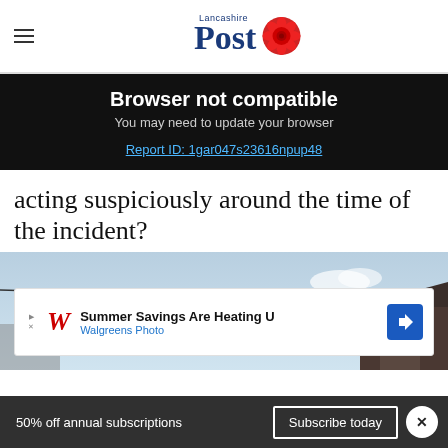Lancashire Post
Browser not compatible
You may need to update your browser
Report ID: 1gar047s23616npup48
acting suspiciously around the time of the incident?
[Figure (photo): Photograph of a residential street with rooftops and sky, partially obscured by an advertisement overlay for Walgreens Photo: 'Summer Savings Are Heating U']
50% off annual subscriptions   Subscribe today